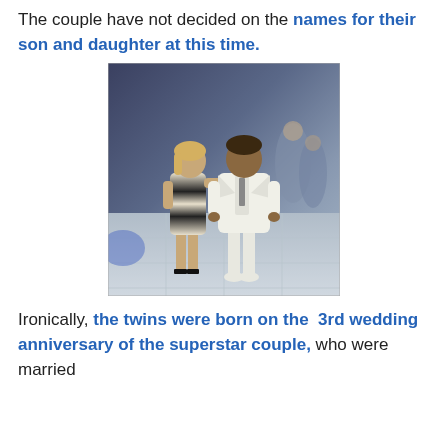The couple have not decided on the names for their son and daughter at this time.
[Figure (photo): A couple posing together at what appears to be a party or event. A woman in a black and white striped dress embraces a man in a white suit.]
Ironically, the twins were born on the 3rd wedding anniversary of the superstar couple, who were married